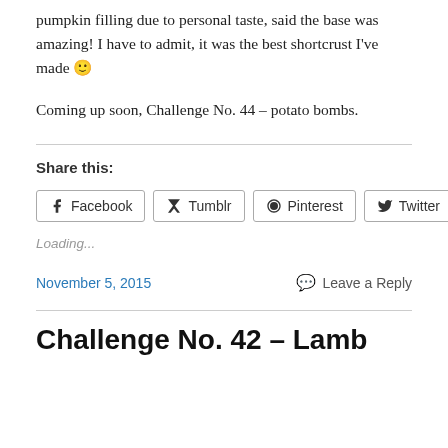pumpkin filling due to personal taste, said the base was amazing! I have to admit, it was the best shortcrust I've made 🙂
Coming up soon, Challenge No. 44 – potato bombs.
Share this:
Facebook  Tumblr  Pinterest  Twitter  Email
Loading...
November 5, 2015   Leave a Reply
Challenge No. 42 – Lamb